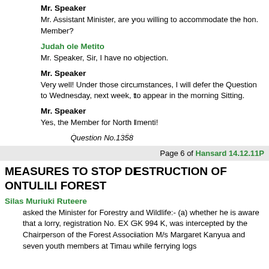Mr. Speaker
Mr. Assistant Minister, are you willing to accommodate the hon. Member?
Judah ole Metito
Mr. Speaker, Sir, I have no objection.
Mr. Speaker
Very well! Under those circumstances, I will defer the Question to Wednesday, next week, to appear in the morning Sitting.
Mr. Speaker
Yes, the Member for North Imenti!
Question No.1358
Page 6 of Hansard 14.12.11P
MEASURES TO STOP DESTRUCTION OF ONTULILI FOREST
Silas Muriuki Ruteere
asked the Minister for Forestry and Wildlife:- (a) whether he is aware that a lorry, registration No. EX GK 994 K, was intercepted by the Chairperson of the Forest Association M/s Margaret Kanyua and seven youth members at Timau while ferrying logs